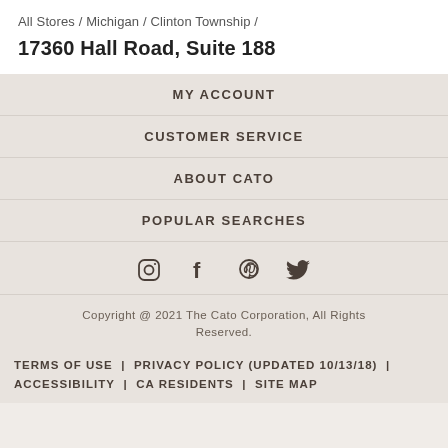All Stores / Michigan / Clinton Township /
17360 Hall Road, Suite 188
MY ACCOUNT
CUSTOMER SERVICE
ABOUT CATO
POPULAR SEARCHES
[Figure (infographic): Social media icons: Instagram, Facebook, Pinterest, Twitter]
Copyright @ 2021 The Cato Corporation, All Rights Reserved.
TERMS OF USE | PRIVACY POLICY (UPDATED 10/13/18) | ACCESSIBILITY | CA RESIDENTS | SITE MAP